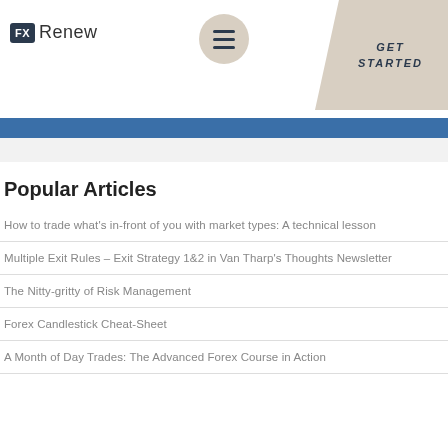FX Renew
Popular Articles
How to trade what's in-front of you with market types: A technical lesson
Multiple Exit Rules – Exit Strategy 1&2 in Van Tharp's Thoughts Newsletter
The Nitty-gritty of Risk Management
Forex Candlestick Cheat-Sheet
A Month of Day Trades: The Advanced Forex Course in Action